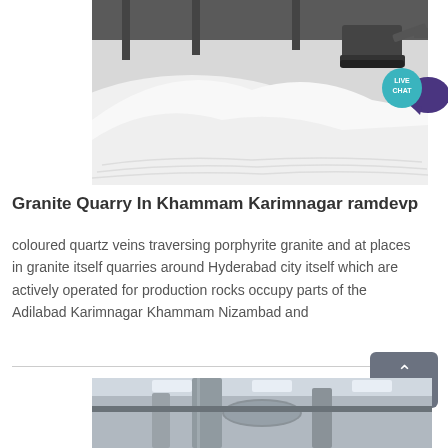[Figure (photo): Industrial quarry warehouse interior showing large mounds of white mineral/rock material with a tracked loader/bulldozer machine in the background]
Granite Quarry In Khammam Karimnagar ramdevp
coloured quartz veins traversing porphyrite granite and at places in granite itself quarries around Hyderabad city itself which are actively operated for production rocks occupy parts of the Adilabad Karimnagar Khammam Nizambad and
[Figure (photo): Industrial facility showing metal ductwork/pipes and structural elements inside a building]